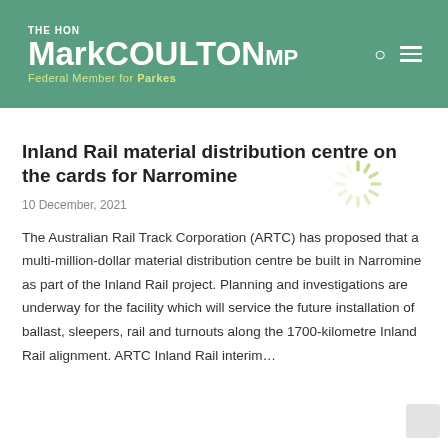THE HON Mark COULTON MP Federal Member for Parkes
Inland Rail material distribution centre on the cards for Narromine
10 December, 2021
The Australian Rail Track Corporation (ARTC) has proposed that a multi-million-dollar material distribution centre be built in Narromine as part of the Inland Rail project. Planning and investigations are underway for the facility which will service the future installation of ballast, sleepers, rail and turnouts along the 1700-kilometre Inland Rail alignment. ARTC Inland Rail interim…